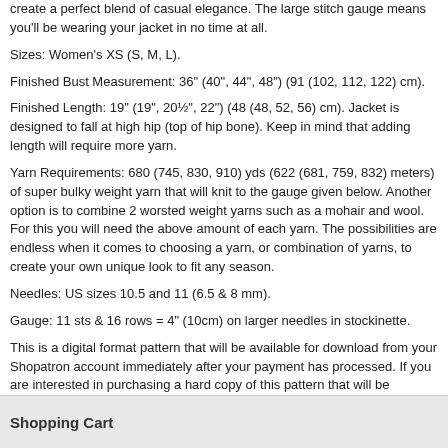create a perfect blend of casual elegance. The large stitch gauge means you'll be wearing your jacket in no time at all.
Sizes: Women's XS (S, M, L).
Finished Bust Measurement: 36" (40", 44", 48") (91 (102, 112, 122) cm).
Finished Length: 19" (19", 20½", 22") (48 (48, 52, 56) cm). Jacket is designed to fall at high hip (top of hip bone). Keep in mind that adding length will require more yarn.
Yarn Requirements: 680 (745, 830, 910) yds (622 (681, 759, 832) meters) of super bulky weight yarn that will knit to the gauge given below. Another option is to combine 2 worsted weight yarns such as a mohair and wool. For this you will need the above amount of each yarn. The possibilities are endless when it comes to choosing a yarn, or combination of yarns, to create your own unique look to fit any season.
Needles: US sizes 10.5 and 11 (6.5 & 8 mm).
Gauge: 11 sts & 16 rows = 4" (10cm) on larger needles in stockinette.
This is a digital format pattern that will be available for download from your Shopatron account immediately after your payment has processed. If you are interested in purchasing a hard copy of this pattern that will be shipped to you please go to LL481 Options Jacket
Shopping Cart